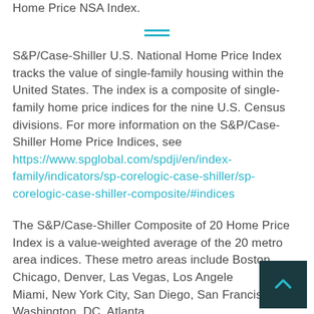Home Price NSA Index.
S&P/Case-Shiller U.S. National Home Price Index tracks the value of single-family housing within the United States. The index is a composite of single-family home price indices for the nine U.S. Census divisions. For more information on the S&P/Case-Shiller Home Price Indices, see https://www.spglobal.com/spdji/en/index-family/indicators/sp-corelogic-case-shiller/sp-corelogic-case-shiller-composite/#indices
The S&P/Case-Shiller Composite of 20 Home Price Index is a value-weighted average of the 20 metro area indices. These metro areas include Boston, Chicago, Denver, Las Vegas, Los Angeles, Miami, New York City, San Diego, San Francisco, Washington, DC, Atlanta